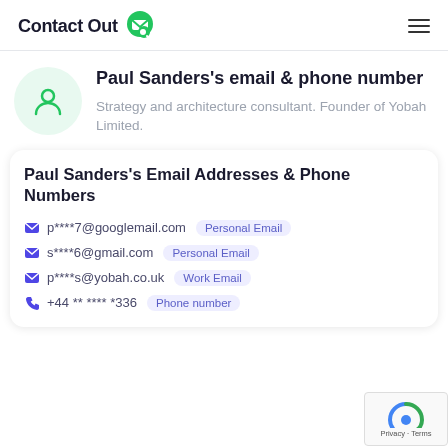ContactOut
Paul Sanders's email & phone number
Strategy and architecture consultant. Founder of Yobah Limited.
Paul Sanders's Email Addresses & Phone Numbers
p****7@googlemail.com  Personal Email
s****6@gmail.com  Personal Email
p****s@yobah.co.uk  Work Email
+44 ** **** *336  Phone number